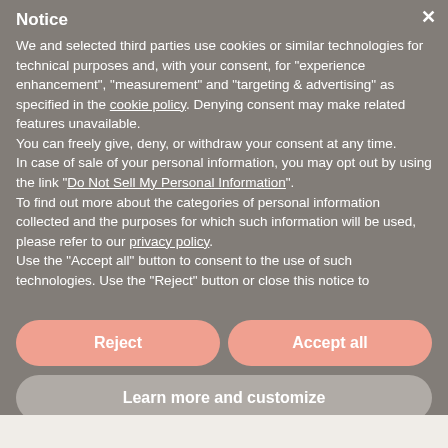Notice
We and selected third parties use cookies or similar technologies for technical purposes and, with your consent, for "experience enhancement", "measurement" and "targeting & advertising" as specified in the cookie policy. Denying consent may make related features unavailable.
You can freely give, deny, or withdraw your consent at any time.
In case of sale of your personal information, you may opt out by using the link "Do Not Sell My Personal Information".
To find out more about the categories of personal information collected and the purposes for which such information will be used, please refer to our privacy policy.
Use the "Accept all" button to consent to the use of such technologies. Use the "Reject" button or close this notice to
Reject
Accept all
Learn more and customize